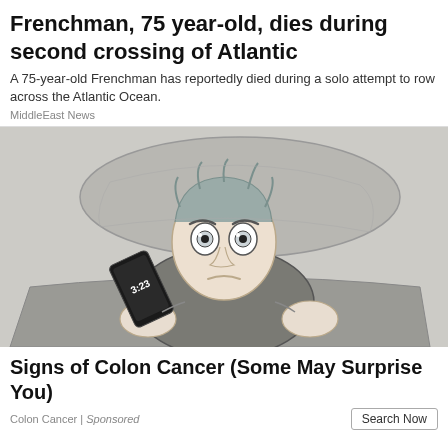Frenchman, 75 year-old, dies during second crossing of Atlantic
A 75-year-old Frenchman has reportedly died during a solo attempt to row across the Atlantic Ocean.
MiddleEast News
[Figure (illustration): Cartoon illustration of a person lying awake in bed, staring at the ceiling. A phone showing 3:23 is next to them. The scene is drawn in a simple, flat animation style with muted grey-green tones.]
Signs of Colon Cancer (Some May Surprise You)
Colon Cancer | Sponsored